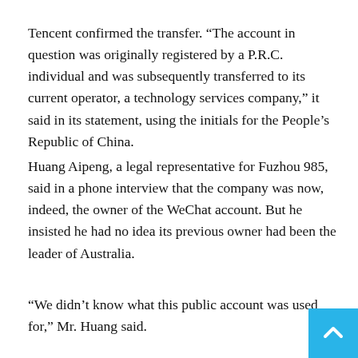Tencent confirmed the transfer. “The account in question was originally registered by a P.R.C. individual and was subsequently transferred to its current operator, a technology services company,” it said in its statement, using the initials for the People’s Republic of China.
Huang Aipeng, a legal representative for Fuzhou 985, said in a phone interview that the company was now, indeed, the owner of the WeChat account. But he insisted he had no idea its previous owner had been the leader of Australia.
“We didn’t know what this public account was used for,” Mr. Huang said.
He explained that he had bought the account — legitimately — because the company needed a public WeChat account th…